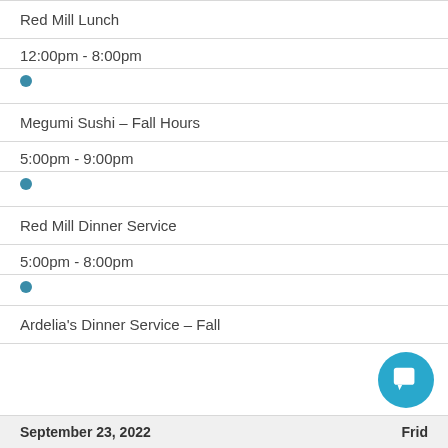Red Mill Lunch
12:00pm - 8:00pm
Megumi Sushi – Fall Hours
5:00pm - 9:00pm
Red Mill Dinner Service
5:00pm - 8:00pm
Ardelia's Dinner Service – Fall
September 23, 2022   Frid